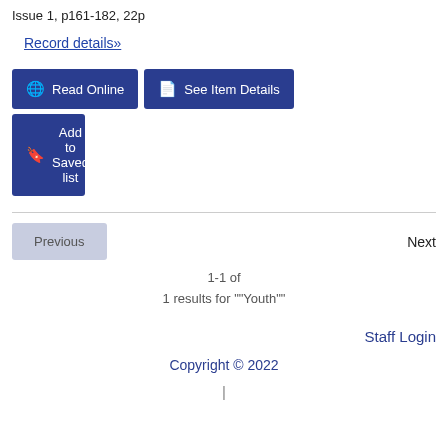Issue 1, p161-182, 22p
Record details»
Read Online
See Item Details
Add to Saved list
Previous
Next
1-1 of
1 results for ""Youth""
Staff Login
Copyright © 2022
|